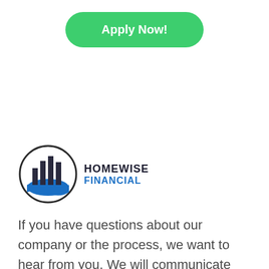[Figure (other): Green 'Apply Now!' button with rounded pill shape and white bold text]
[Figure (logo): Homewise Financial logo: a circle with bar chart and blue wave inside, with text 'HOMEWISE FINANCIAL' to the right]
If you have questions about our company or the process, we want to hear from you. We will communicate with you however you are most comfortable. Simply hit the link to the right, book